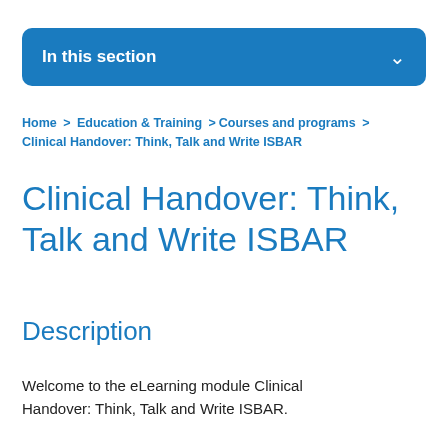In this section
Home > Education & Training > Courses and programs > Clinical Handover: Think, Talk and Write ISBAR
Clinical Handover: Think, Talk and Write ISBAR
Description
Welcome to the eLearning module Clinical Handover: Think, Talk and Write ISBAR.